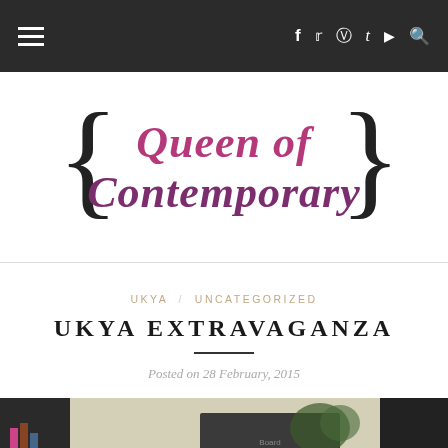Navigation bar with hamburger menu and social icons (f, Twitter, Instagram, Tumblr, YouTube, Search)
[Figure (logo): Queen of Contemporary blog logo with curly braces on either side and cursive pink-to-purple gradient text]
UKYA / UNCATEGORIZED
UKYA EXTRAVAGANZA
Posted on 28 February, 2015
[Figure (photo): Indoor event photo showing people gathered in a room with bookshelves and plants, taken at UKYA Extravaganza]